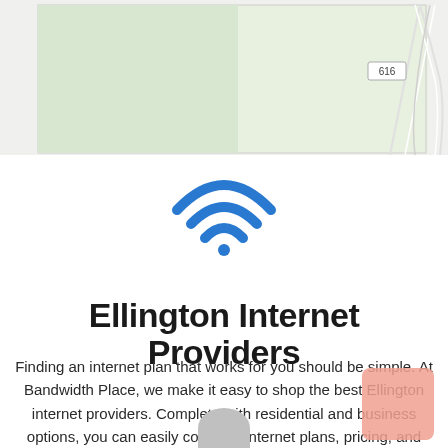[Figure (map): Street map showing road 616 and surrounding area with green and white sections]
[Figure (illustration): Blue WiFi signal icon with three arcs and a dot]
Ellington Internet Providers
Finding an internet plan that works for you should be simple. At Bandwidth Place, we make it easy to shop the best Ellington internet providers. Complete with residential and business options, you can easily compare internet plans, pricing, and speeds available in Ellington.